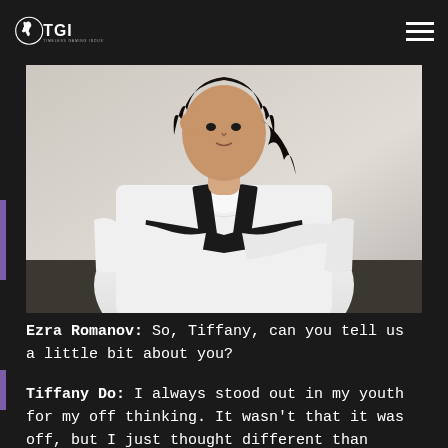TGI - Timeless Gaming Industries logo and navigation
[Figure (photo): A young woman with dark hair wearing a white dress shirt and black harness/band, arms crossed, photographed from the torso up against a light background.]
Ezra Romanov: So, Tiffany, can you tell us a little bit about you?
Tiffany Do: I always stood out in my youth for my off thinking. It wasn't that it was off, but I just thought different than others. I'm an aspiring voice